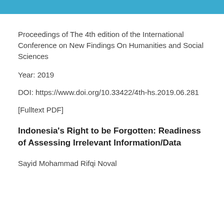Proceedings of The 4th edition of the International Conference on New Findings On Humanities and Social Sciences
Year: 2019
DOI: https://www.doi.org/10.33422/4th-hs.2019.06.281
[Fulltext PDF]
Indonesia's Right to be Forgotten: Readiness of Assessing Irrelevant Information/Data
Sayid Mohammad Rifqi Noval